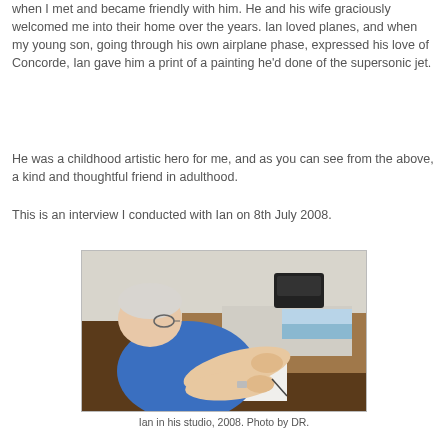when I met and became friendly with him. He and his wife graciously welcomed me into their home over the years. Ian loved planes, and when my young son, going through his own airplane phase, expressed his love of Concorde, Ian gave him a print of a painting he'd done of the supersonic jet.
He was a childhood artistic hero for me, and as you can see from the above, a kind and thoughtful friend in adulthood.
This is an interview I conducted with Ian on 8th July 2008.
[Figure (photo): An elderly man with white hair and glasses, wearing a blue shirt, leaning over a desk drawing or writing on white paper. The desk has aviation-related magazines and prints on it. A telephone is visible in the background.]
Ian in his studio, 2008. Photo by DR.